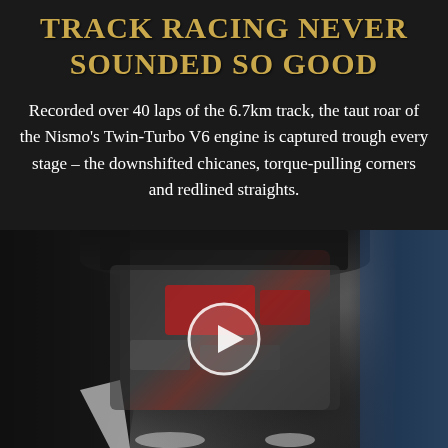TRACK RACING NEVER SOUNDED SO GOOD
Recorded over 40 laps of the 6.7km track, the taut roar of the Nismo's Twin-Turbo V6 engine is captured trough every stage – the downshifted chicanes, torque-pulling corners and redlined straights.
[Figure (photo): Photo of a mechanic leaning over the engine bay of a black Nissan GT-R Nismo race car, with the hood open revealing a Twin-Turbo V6 engine. A play button overlay is centered on the image indicating a video.]